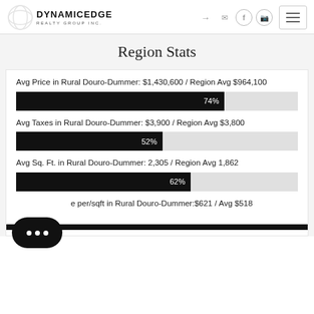[Figure (logo): Dynamic Edge Realty Group Inc. logo with stylized circular icon]
Region Stats
Avg Price in Rural Douro-Dummer: $1,430,600 / Region Avg $964,100
[Figure (bar-chart): Avg Price bar]
Avg Taxes in Rural Douro-Dummer: $3,900 / Region Avg $3,800
[Figure (bar-chart): Avg Taxes bar]
Avg Sq. Ft. in Rural Douro-Dummer: 2,305 / Region Avg 1,862
[Figure (bar-chart): Avg Sq Ft bar]
e per/sqft in Rural Douro-Dummer:$621 / Avg $518